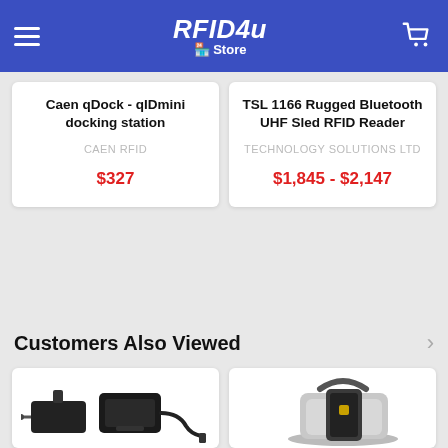RFID4u Store
Caen qDock - qIDmini docking station
CAEN RFID
$327
TSL 1166 Rugged Bluetooth UHF Sled RFID Reader
TECHNOLOGY SOLUTIONS LTD
$1,845 - $2,147
Customers Also Viewed
[Figure (photo): Power adapter, charging dock/cradle, and cable accessories for RFID device]
[Figure (photo): Rugged RFID handheld reader device/sled in desktop cradle/holder]